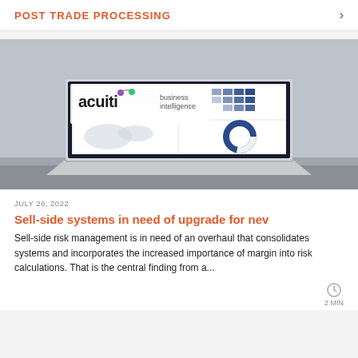POST TRADE PROCESSING
[Figure (photo): Laptop computer displaying a business intelligence dashboard with charts, graphs, and a donut chart. Acuiti business intelligence logo overlaid on the image.]
JULY 26, 2022
Sell-side systems in need of upgrade for ne…
Sell-side risk management is in need of an overhaul that consolidates systems and incorporates the increased importance of margin into risk calculations. That is the central finding from a...
2 MIN